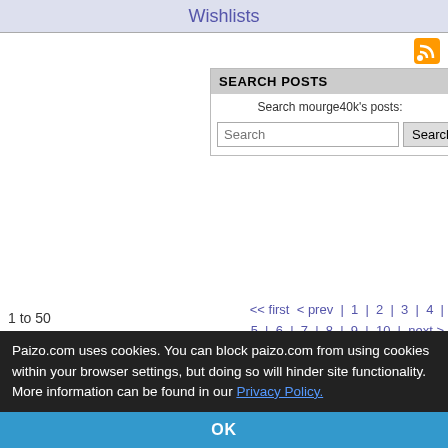Wishlists
[Figure (logo): RSS feed orange icon]
SEARCH POSTS
Search mourge40k's posts:
Search [input] Search [button]
1 to 50 of 525
<< first < prev | 1 | 2 | 3 | 4 | 5 | 6 | 7 | 8 | 9 | 10 | next > last >>
STRANGE AEONS OBITUARIES PAGE (OBVIOUS SPOILERS)
mourge40k
Mar 12, 2021, 12:58 pm
Name: Kuro Izanakami
Paizo.com uses cookies. You can block paizo.com from using cookies within your browser settings, but doing so will hinder site functionality. More information can be found in our Privacy Policy.
OK